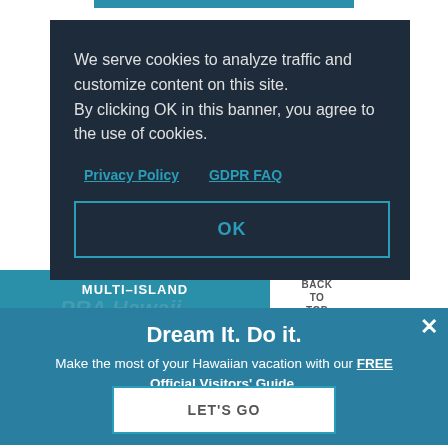We serve cookies to analyze traffic and customize content on this site. By clicking OK in this banner, you agree to the use of cookies.
Privacy Policy  GDPR FAQ
OK
MULTI-ISLAND
BACK TO TOP
Dream It. Do it.
Make the most of your Hawaiian vacation with our FREE Official Visitors' Guide.
LET'S GO